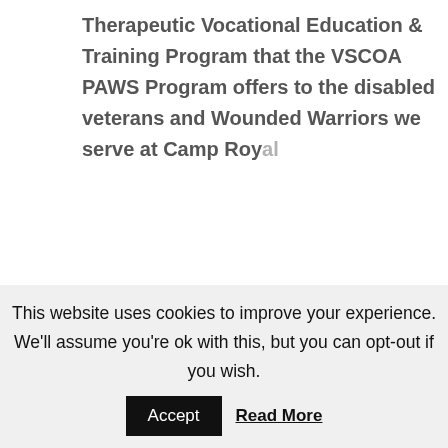Therapeutic Vocational Education & Training Program that the VSCOA PAWS Program offers to the disabled veterans and Wounded Warriors we serve at Camp Roy al
[Figure (infographic): Social share icons: RSS feed (orange circle), Follow button (gray circle), Facebook (blue circle), Twitter (blue circle)]
This unique first of its kind program offers qualified veterans staying at Camp Royal Oak the opportunity to obtain pre-vocational skills that could help lead a veteran to become a fully certified Companion-Service Dog Trainer or more.Â Â  Veterans that enroll for the âTATâ program are taught to train
This website uses cookies to improve your experience. We'll assume you're ok with this, but you can opt-out if you wish.